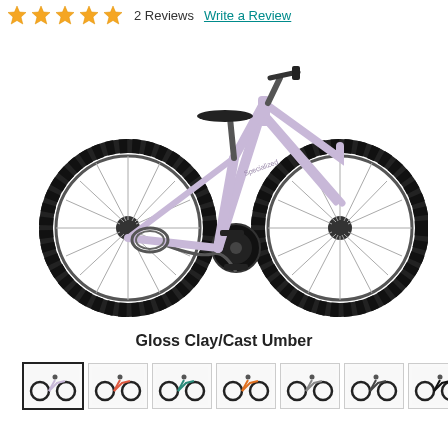★★★★★ 2 Reviews   Write a Review
[Figure (photo): A lavender/light purple children's bicycle (Specialized brand) with knobby tires, multiple gears, shown in side profile view against white background]
Gloss Clay/Cast Umber
[Figure (photo): Row of 7 thumbnail images showing the same bicycle model in different colors: lavender (selected), red/coral, teal/green, orange, gray/dark, dark gray, and black]